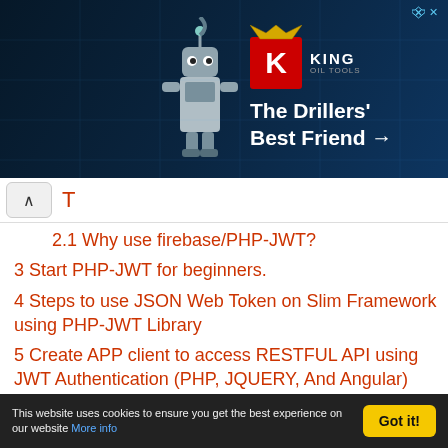[Figure (photo): King Oil Tools advertisement banner with dark blue background, robot/drill illustration on left, King logo with red K and crown, tagline 'The Drillers' Best Friend →']
2.1 Why use firebase/PHP-JWT?
3 Start PHP-JWT for beginners.
4 Steps to use JSON Web Token on Slim Framework using PHP-JWT Library
5 Create APP client to access RESTFUL API using JWT Authentication (PHP, JQUERY, And Angular)
5.1 PHP tutorial to access the API using JWT Authentication
5.2 The JQuery tutorial to access the Server APIs using JWT Authentication
This website uses cookies to ensure you get the best experience on our website More info  Got it!